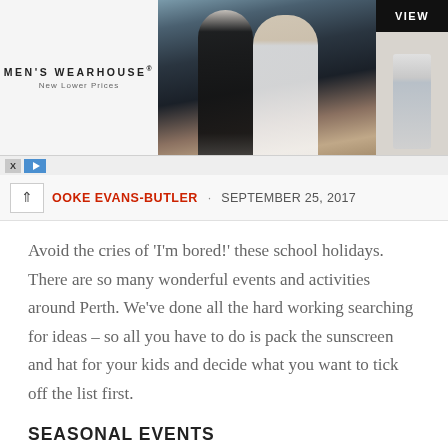[Figure (screenshot): Men's Wearhouse advertisement banner showing a couple in formal wedding attire, a child in a suit, a VIEW button, and playback controls at the bottom.]
OOKE EVANS-BUTLER · SEPTEMBER 25, 2017
Avoid the cries of 'I'm bored!' these school holidays. There are so many wonderful events and activities around Perth. We've done all the hard working searching for ideas – so all you have to do is pack the sunscreen and hat for your kids and decide what you want to tick off the list first.
SEASONAL EVENTS
Christmas, New Year and Australia Day means many opportunities to celebrate over the summer school holiday period. Check out these family-friendly options: